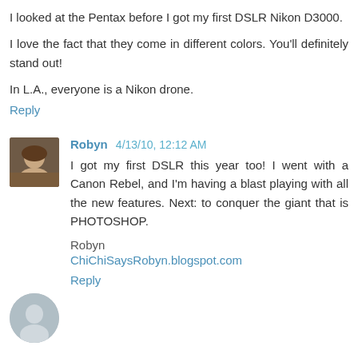I looked at the Pentax before I got my first DSLR Nikon D3000.
I love the fact that they come in different colors. You'll definitely stand out!
In L.A., everyone is a Nikon drone.
Reply
[Figure (photo): Small square avatar photo of Robyn, a woman with reddish-brown hair]
Robyn 4/13/10, 12:12 AM
I got my first DSLR this year too! I went with a Canon Rebel, and I'm having a blast playing with all the new features. Next: to conquer the giant that is PHOTOSHOP.
Robyn
ChiChiSaysRobyn.blogspot.com
Reply
[Figure (photo): Partial view of a gray/blue circular avatar at the bottom of the page]